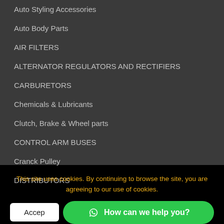Auto Styling Accessories
Auto Body Parts
AIR FILTERS
ALTERNATOR REGULATORS AND RECTIFIERS
CARBURETORS
Chemicals & Lubricants
Clutch, Brake & Wheel parts
CONTROL ARM BUSES
Cranck Pulley
DISTRIBUTORS
This site uses cookies. By continuing to browse the site, you are agreeing to our use of cookies.
Accept | How can we help you?